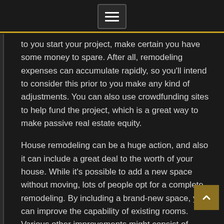☰ (hamburger menu button)
to you start your project, make certain you have some money to spare. After all, remodeling expenses can accumulate rapidly, so you'll intend to consider this prior to you make any kind of adjustments. You can also use crowdfunding sites to help fund the project, which is a great way to make passive real estate equity.
House remodeling can be a huge action, and also it can include a great deal to the worth of your house. While it's possible to add a new space without moving, lots of people opt for a complete remodeling. By including a brand-new space, you can improve the capability of existing rooms. Various other improvements might consist of adding brand-new features to existing rooms or updating details areas. In general, house remodeling can take a great deal of time, as well